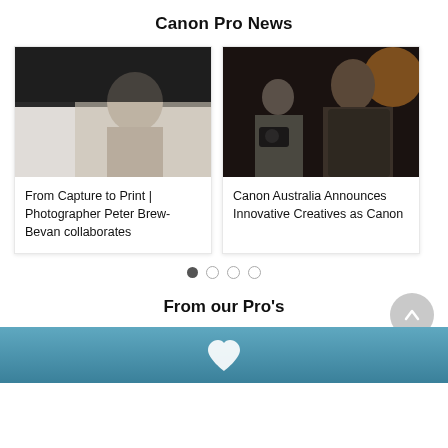Canon Pro News
[Figure (photo): Left card: photo of a person, partially visible, with dark background. Right card: photo of a bearded man looking upward in a dark indoor setting, with another person holding a camera in the background.]
From Capture to Print | Photographer Peter Brew-Bevan collaborates
Canon Australia Announces Innovative Creatives as Canon
[Figure (other): Carousel pagination dots: one filled dot and three empty dots]
From our Pro's
[Figure (photo): Bottom banner image with blue/teal background and a white heart icon]